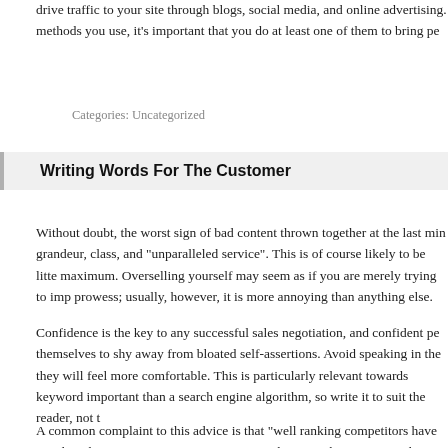drive traffic to your site through blogs, social media, and online advertising. Whatever methods you use, it's important that you do at least one of them to bring pe...
Categories: Uncategorized
Writing Words For The Customer
Without doubt, the worst sign of bad content thrown together at the last min... grandeur, class, and “unparalleled service”. This is of course likely to be litte... maximum. Overselling yourself may seem as if you are merely trying to imp... prowess; usually, however, it is more annoying than anything else.
Confidence is the key to any successful sales negotiation, and confident pe... themselves to shy away from bloated self-assertions. Avoid speaking in the... they will feel more comfortable. This is particularly relevant towards keyword... important than a search engine algorithm, so write it to suit the reader, not t...
A common complaint to this advice is that “well ranking competitors have co... when the time comes to reinvigorate a website it is best to copy others. This... primary and most basic being whether you believe it is a guarantee that goo... good sales ratio.